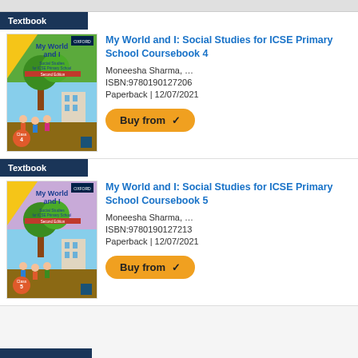Textbook
[Figure (illustration): Book cover: My World and I Social Studies for ICSE Primary School Coursebook 4, colorful illustration with children and trees]
My World and I: Social Studies for ICSE Primary School Coursebook 4
Moneesha Sharma, …
ISBN:9780190127206
Paperback | 12/07/2021
Buy from
Textbook
[Figure (illustration): Book cover: My World and I Social Studies for ICSE Primary School Coursebook 5, colorful illustration with children and trees]
My World and I: Social Studies for ICSE Primary School Coursebook 5
Moneesha Sharma, …
ISBN:9780190127213
Paperback | 12/07/2021
Buy from